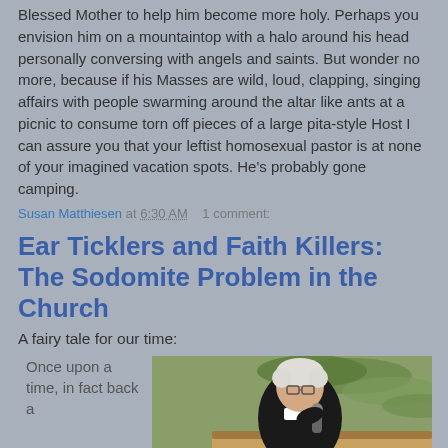Blessed Mother to help him become more holy. Perhaps you envision him on a mountaintop with a halo around his head personally conversing with angels and saints. But wonder no more, because if his Masses are wild, loud, clapping, singing affairs with people swarming around the altar like ants at a picnic to consume torn off pieces of a large pita-style Host I can assure you that your leftist homosexual pastor is at none of your imagined vacation spots. He's probably gone camping.
Susan Matthiesen at 6:30 AM   1 comment:
Ear Ticklers and Faith Killers: The Sodomite Problem in the Church
A fairy tale for our time:
Once upon a time, in fact back a
[Figure (photo): A white-haired man in clerical black clothing holding a microphone, seated outdoors with green palm foliage in the background]